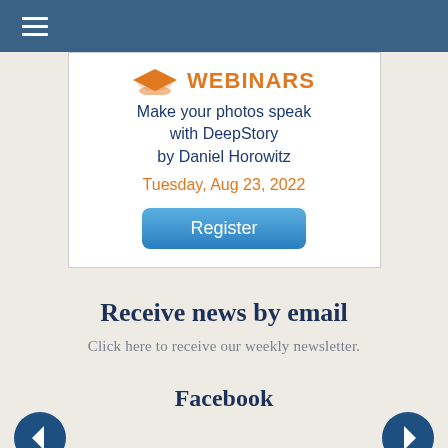[Figure (screenshot): Blue navigation bar with hamburger menu icon (three horizontal lines) at top left]
[Figure (infographic): Webinar advertisement box with graduation cap logo, 'WEBINARS' orange heading, description 'Make your photos speak with DeepStory by Daniel Horowitz', date 'Tuesday, Aug 23, 2022', and a blue 'Register' button]
Receive news by email
Click here to receive our weekly newsletter.
Facebook